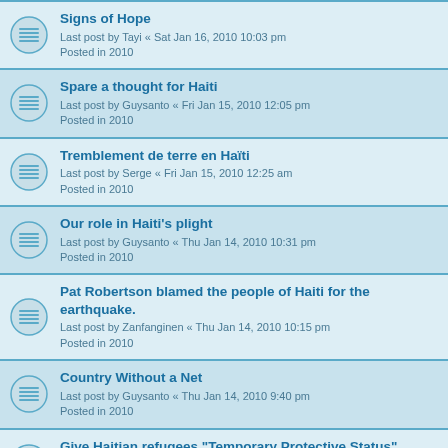Signs of Hope
Last post by Tayi « Sat Jan 16, 2010 10:03 pm
Posted in 2010
Spare a thought for Haiti
Last post by Guysanto « Fri Jan 15, 2010 12:05 pm
Posted in 2010
Tremblement de terre en Haïti
Last post by Serge « Fri Jan 15, 2010 12:25 am
Posted in 2010
Our role in Haiti's plight
Last post by Guysanto « Thu Jan 14, 2010 10:31 pm
Posted in 2010
Pat Robertson blamed the people of Haiti for the earthquake.
Last post by Zanfanginen « Thu Jan 14, 2010 10:15 pm
Posted in 2010
Country Without a Net
Last post by Guysanto « Thu Jan 14, 2010 9:40 pm
Posted in 2010
Give Haitian refugees "Temporary Protective Status"
Last post by Guysanto « Thu Jan 14, 2010 8:03 pm
Posted in 2010
Puissant séisme en Haïti
Last post by Widy « Tue Jan 12, 2010 6:14 pm
Posted in 2010
Post Haitian CDs - 2009